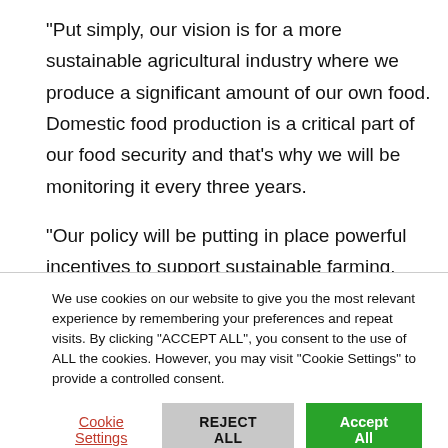“Put simply, our vision is for a more sustainable agricultural industry where we produce a significant amount of our own food. Domestic food production is a critical part of our food security and that’s why we will be monitoring it every three years.
“Our policy will be putting in place powerful incentives to support sustainable farming. This includes sensitive hedgerow management allowing hedgerows to recover, recognising
We use cookies on our website to give you the most relevant experience by remembering your preferences and repeat visits. By clicking “ACCEPT ALL”, you consent to the use of ALL the cookies. However, you may visit “Cookie Settings” to provide a controlled consent.